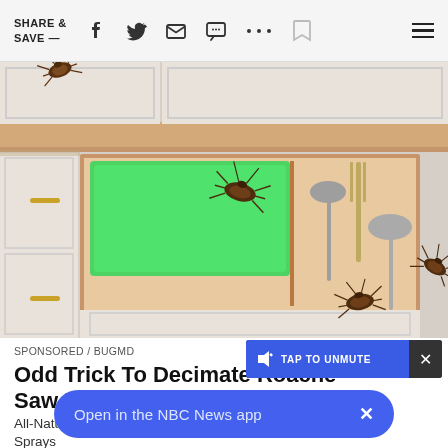SHARE & SAVE —
[Figure (illustration): Cartoon illustration of kitchen cabinets with an open drawer revealing cutlery and a glowing green item, with multiple cockroaches crawling on and around the drawer and cabinet surfaces.]
SPONSORED / BUGMD
Odd Trick To Decimate Roaches (Wish I Saw It Sooner)
All-Natural Sprays